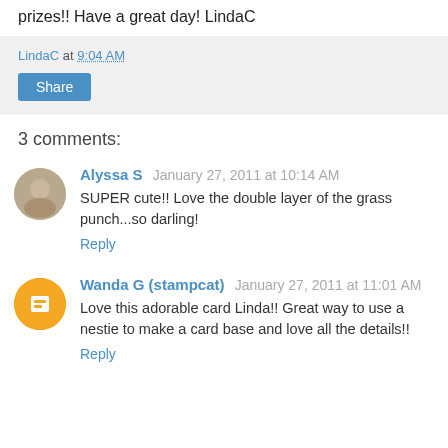prizes!! Have a great day! LindaC
LindaC at 9:04 AM
Share
3 comments:
Alyssa S  January 27, 2011 at 10:14 AM
SUPER cute!! Love the double layer of the grass punch...so darling!
Reply
Wanda G (stampcat)  January 27, 2011 at 11:01 AM
Love this adorable card Linda!! Great way to use a nestie to make a card base and love all the details!!
Reply